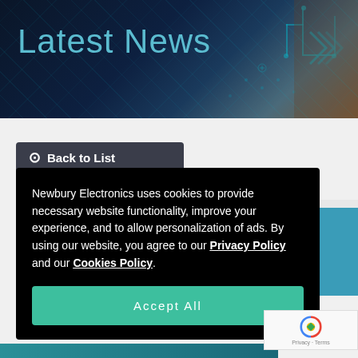[Figure (screenshot): Dark blue header banner with circuit board pattern and teal circuit traces on the right side]
Latest News
Back to List
Newbury Electronics uses cookies to provide necessary website functionality, improve your experience, and to allow personalization of ads. By using our website, you agree to our Privacy Policy and our Cookies Policy.
Accept All
[Figure (logo): Google reCAPTCHA badge with spinning logo and Privacy · Terms text]